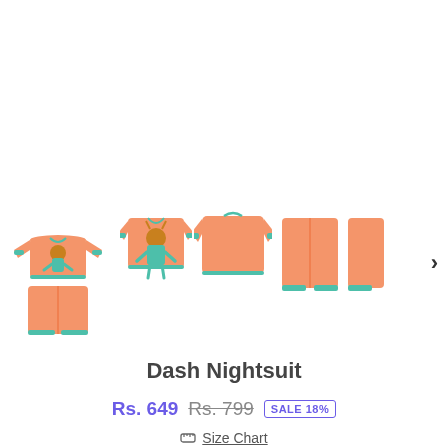[Figure (photo): Product image carousel showing a children's orange/peach nightsuit set with teal trim. Five images shown: full set (top + pants with cartoon giraffe print), front view of top with cartoon character, back view of top, pants only, and partial fifth image. A right arrow navigation button is visible.]
Dash Nightsuit
Rs. 649  Rs. 799  SALE 18%
Size Chart